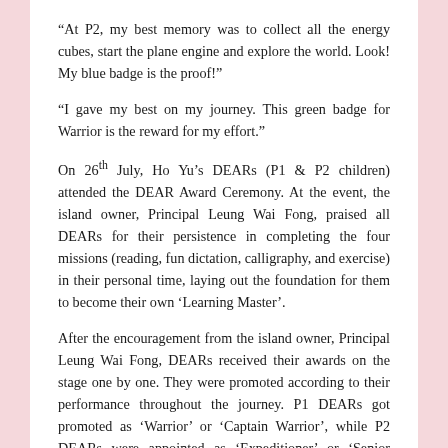“At P2, my best memory was to collect all the energy cubes, start the plane engine and explore the world. Look! My blue badge is the proof!”
“I gave my best on my journey. This green badge for Warrior is the reward for my effort.”
On 26th July, Ho Yu’s DEARs (P1 & P2 children) attended the DEAR Award Ceremony. At the event, the island owner, Principal Leung Wai Fong, praised all DEARs for their persistence in completing the four missions (reading, fun dictation, calligraphy, and exercise) in their personal time, laying out the foundation for them to become their own ‘Learning Master’.
After the encouragement from the island owner, Principal Leung Wai Fong, DEARs received their awards on the stage one by one. They were promoted according to their performance throughout the journey. P1 DEARs got promoted as ‘Warrior’ or ‘Captain Warrior’, while P2 DEARs were appointed as ‘Expeditioner’ or ‘Senior Expeditioner’. It is hoped that